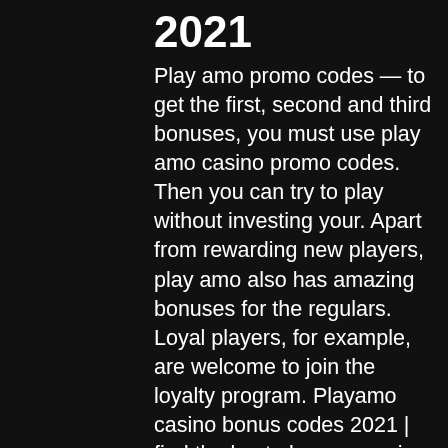2021
Play amo promo codes — to get the first, second and third bonuses, you must use play amo casino promo codes. Then you can try to play without investing your. Apart from rewarding new players, play amo also has amazing bonuses for the regulars. Loyal players, for example, are welcome to join the loyalty program. Playamo casino bonus codes 2021 | find the best playamo casino coupons on chipy. Com! exclusive no deposit bonuses, free spins, and more! 1st deposit match bonus of 100% up to €500 plus 100 welcome spins on lucky lady using code firstdep. 2nd deposit match bonus of 50% up to. — to learn more details about each promotion, check out the playamo bonus codes table we made for the review. Bonuses &amp; promotions playamo. — update: the group of casinos playamo, bob and betchan are all blacklisted and banned.